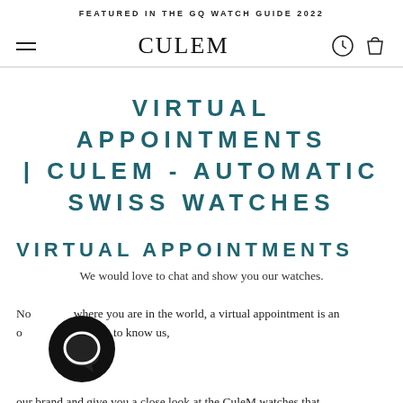FEATURED IN THE GQ WATCH GUIDE 2022
[Figure (screenshot): Navigation bar with hamburger menu, CULEM logo, watch icon, and bag icon]
VIRTUAL APPOINTMENTS | CULEM - AUTOMATIC SWISS WATCHES
VIRTUAL APPOINTMENTS
We would love to chat and show you our watches.
No matter where you are in the world, a virtual appointment is an opportunity to get to know us,
our brand and give you a close look at the CuleM watches that